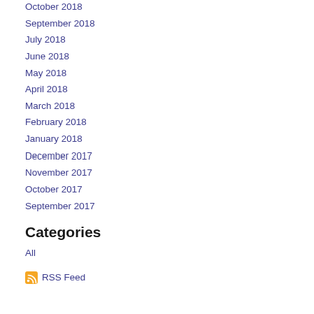October 2018
September 2018
July 2018
June 2018
May 2018
April 2018
March 2018
February 2018
January 2018
December 2017
November 2017
October 2017
September 2017
Categories
All
RSS Feed